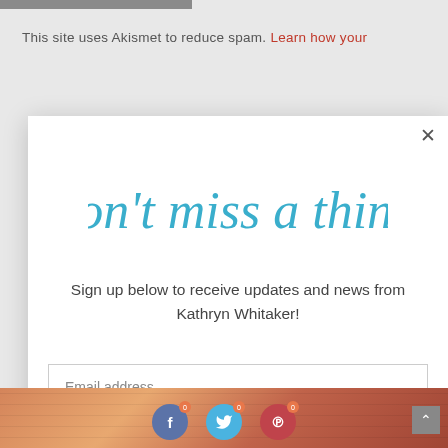This site uses Akismet to reduce spam. Learn how your
[Figure (screenshot): Newsletter signup modal popup with cursive 'Don't miss a thing!' heading, body text, email input field, and black Subscribe button. Includes a close (X) button in top right corner.]
[Figure (photo): Bottom strip showing a person with social media sharing buttons for Facebook, Twitter, and Pinterest overlaid on a warm brick-toned background image.]